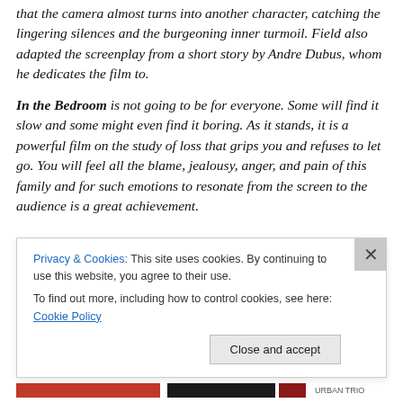that the camera almost turns into another character, catching the lingering silences and the burgeoning inner turmoil. Field also adapted the screenplay from a short story by Andre Dubus, whom he dedicates the film to.

In the Bedroom is not going to be for everyone. Some will find it slow and some might even find it boring. As it stands, it is a powerful film on the study of loss that grips you and refuses to let go. You will feel all the blame, jealousy, anger, and pain of this family and for such emotions to resonate from the screen to the audience is a great achievement.
Privacy & Cookies: This site uses cookies. By continuing to use this website, you agree to their use.
To find out more, including how to control cookies, see here: Cookie Policy